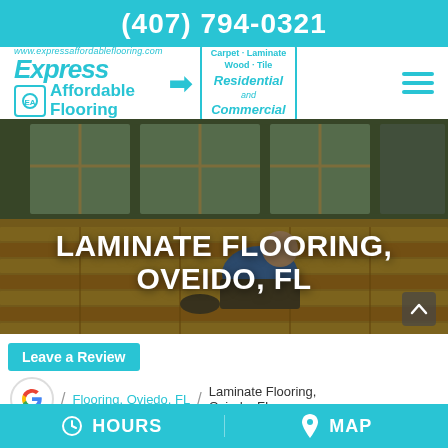(407) 794-0321
[Figure (logo): Express Affordable Flooring logo with arrow, and badge: Carpet - Laminate, Wood - Tile, Residential and Commercial]
[Figure (photo): Worker installing laminate flooring in a room with large windows]
LAMINATE FLOORING, OVEIDO, FL
Leave a Review
/ Flooring, Oviedo, FL / Laminate Flooring, Oviedo, FL
HOURS   MAP